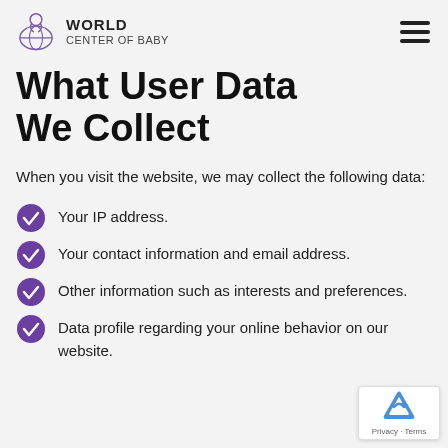WORLD CENTER OF BABY
What User Data We Collect
When you visit the website, we may collect the following data:
Your IP address.
Your contact information and email address.
Other information such as interests and preferences.
Data profile regarding your online behavior on our website.
[Figure (logo): reCAPTCHA badge with Privacy and Terms text]